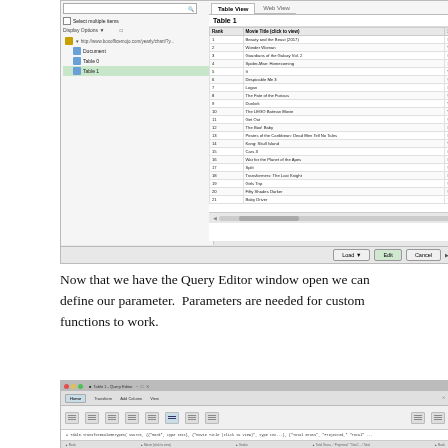[Figure (screenshot): Screenshot of a data import dialog showing a navigator panel on the left with a tree structure (Document, Table 0, Table 1 selected) and a table view on the right labeled 'Table 1' showing movie data with columns for Rank, Movie Title, Studio, and Total Gross. The table lists 21 movies from 2017 including Beauty and the Beast, Wonder Woman, Guardians of the Galaxy Vol. 2, etc. with their studio and gross revenue.]
Now that we have the Query Editor window open we can define our parameter.  Parameters are needed for custom functions to work.
[Figure (screenshot): Screenshot of the Power Query Editor window showing the ribbon toolbar with tabs (Home, Transform, Add Column, View) and a formula bar with a query expression. The window title shows 'Table 1 - Query Editor'.]